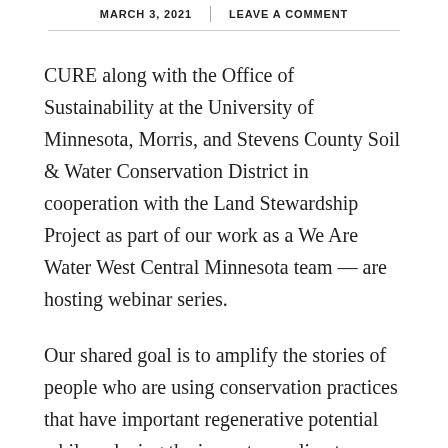MARCH 3, 2021 | LEAVE A COMMENT
CURE along with the Office of Sustainability at the University of Minnesota, Morris, and Stevens County Soil & Water Conservation District in cooperation with the Land Stewardship Project as part of our work as a We Are Water West Central Minnesota team – are hosting webinar series.
Our shared goal is to amplify the stories of people who are using conservation practices that have important regenerative potential while reducing the impacts on climate change. These practices improve soil health and water quality – and grow deep connections to the land and those who came before them. These are stories from practitioners, people